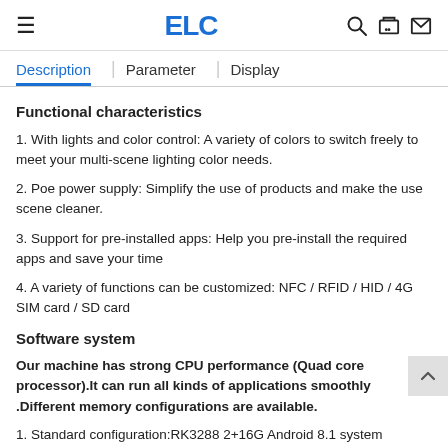≡  ELC  🔍 🛒 ✉
Description | Parameter | Display
Functional characteristics
1. With lights and color control: A variety of colors to switch freely to meet your multi-scene lighting color needs.
2. Poe power supply: Simplify the use of products and make the use scene cleaner.
3. Support for pre-installed apps: Help you pre-install the required apps and save your time
4. A variety of functions can be customized: NFC / RFID / HID / 4G SIM card / SD card
Software system
Our machine has strong CPU performance (Quad core processor).It can run all kinds of applications smoothly .Different memory configurations are available.
1. Standard configuration:RK3288 2+16G Android 8.1 system (Android 5.1/ 6.0 /8/9.1/ 10.1 /11 available);
2. High version: RK3399 Android 9.0 (memory available) (